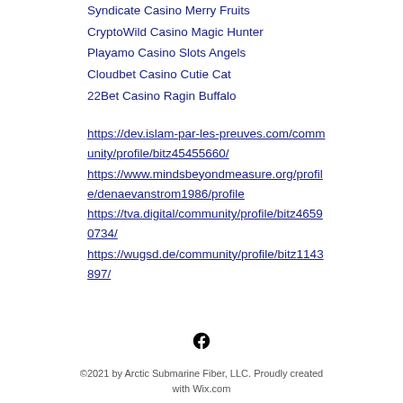Syndicate Casino Merry Fruits
CryptoWild Casino Magic Hunter
Playamo Casino Slots Angels
Cloudbet Casino Cutie Cat
22Bet Casino Ragin Buffalo
https://dev.islam-par-les-preuves.com/community/profile/bitz45455660/
https://www.mindsbeyondmeasure.org/profile/denaevanstrom1986/profile
https://tva.digital/community/profile/bitz46590734/
https://wugsd.de/community/profile/bitz1143897/
[Figure (logo): Facebook icon (black 'f' logo)]
©2021 by Arctic Submarine Fiber, LLC. Proudly created with Wix.com